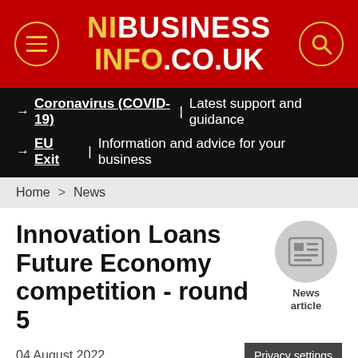NIBUSINESS INFO.CO.UK
→ Coronavirus (COVID-19) | Latest support and guidance
→ EU Exit | Information and advice for your business
Home > News
Innovation Loans Future Economy competition - round 5
04 August 2022
We use cookies to give you the best online experience. These cookies allow the